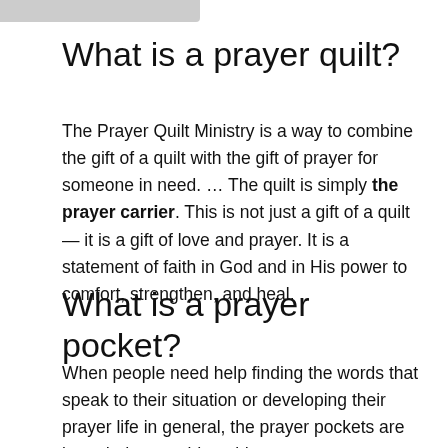What is a prayer quilt?
The Prayer Quilt Ministry is a way to combine the gift of a quilt with the gift of prayer for someone in need. … The quilt is simply the prayer carrier. This is not just a gift of a quilt — it is a gift of love and prayer. It is a statement of faith in God and in His power to comfort, strengthen, and heal.
What is a prayer pocket?
When people need help finding the words that speak to their situation or developing their prayer life in general, the prayer pockets are intended to provide guidance.